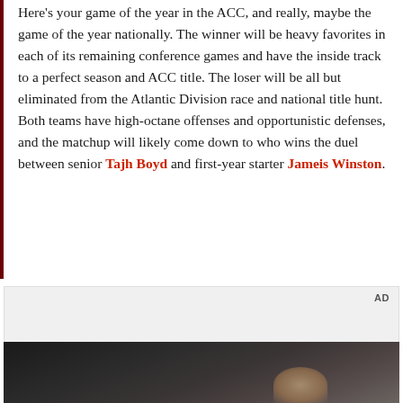Here's your game of the year in the ACC, and really, maybe the game of the year nationally. The winner will be heavy favorites in each of its remaining conference games and have the inside track to a perfect season and ACC title. The loser will be all but eliminated from the Atlantic Division race and national title hunt. Both teams have high-octane offenses and opportunistic defenses, and the matchup will likely come down to who wins the duel between senior Tajh Boyd and first-year starter Jameis Winston.
[Figure (other): Advertisement placeholder block with 'AD' label, followed by a dark photo showing a partial view of a hand and interior scene]